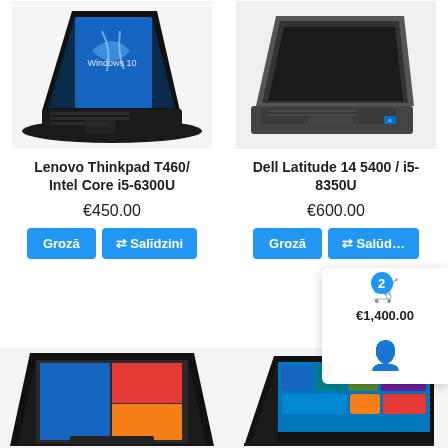[Figure (photo): Lenovo Thinkpad T460 laptop photo showing Windows 10 screen, angled view from above-front]
[Figure (photo): Dell Latitude 14 5400 laptop photo, dark grey, angled view from front-right]
Lenovo Thinkpad T460/ Intel Core i5-6300U
Dell Latitude 14 5400 / i5-8350U
€450.00
€600.00
Grozā
⇄ Salīdzini
Grozā
⇄ Salūd…
2
€1,400.00
[Figure (photo): Lenovo laptop open, colorful Windows screen visible, angled top-down view]
[Figure (photo): Lenovo laptop with Windows 10 screen, angled view]